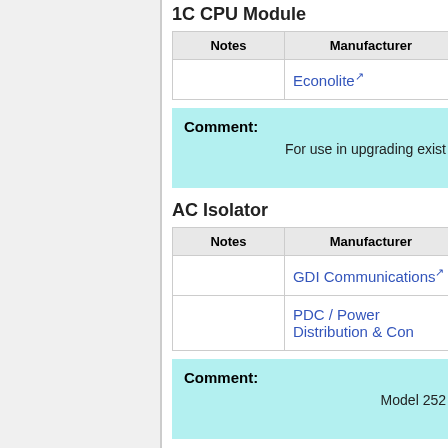1C CPU Module
| Notes | Manufacturer |
| --- | --- |
|  | Econolite |
Comment: For use in upgrading exist
AC Isolator
| Notes | Manufacturer |
| --- | --- |
|  | GDI Communications |
|  | PDC / Power Distribution & Con |
Comment: Model 252
Auxiliary Output File